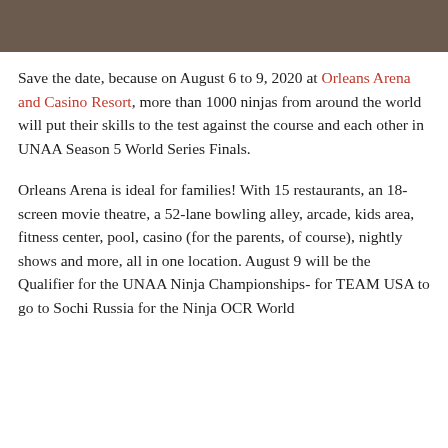[Figure (photo): Top portion of a photo strip showing a dark brownish scene (partial image cut off at top of page)]
Save the date, because on August 6 to 9, 2020 at Orleans Arena and Casino Resort, more than 1000 ninjas from around the world will put their skills to the test against the course and each other in UNAA Season 5 World Series Finals.
Orleans Arena is ideal for families! With 15 restaurants, an 18-screen movie theatre, a 52-lane bowling alley, arcade, kids area, fitness center, pool, casino (for the parents, of course), nightly shows and more, all in one location. August 9 will be the Qualifier for the UNAA Ninja Championships- for TEAM USA to go to Sochi Russia for the Ninja OCR World